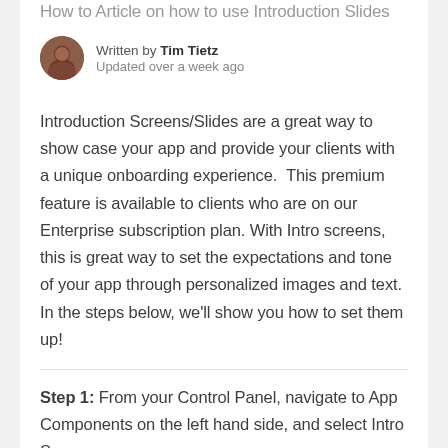How to Article on how to use Introduction Slides
Written by Tim Tietz
Updated over a week ago
Introduction Screens/Slides are a great way to show case your app and provide your clients with a unique onboarding experience.  This premium feature is available to clients who are on our Enterprise subscription plan. With Intro screens, this is great way to set the expectations and tone of your app through personalized images and text.  In the steps below, we'll show you how to set them up!
Step 1: From your Control Panel, navigate to App Components on the left hand side, and select Intro Screens.